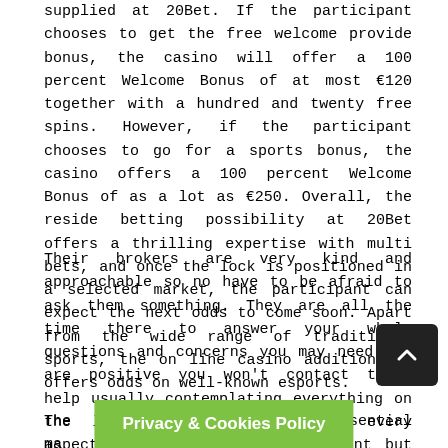supplied at 20Bet. If the participant chooses to get the free welcome provide bonus, the casino will offer a 100 percent Welcome Bonus of at most €120 together with a hundred and twenty free spins. However, if the participant chooses to go for a sports bonus, the casino offers a 100 percent Welcome Bonus of as a lot as €250. Overall, the reside betting possibility at 20Bet offers a thrilling expertise with multi bets, and once the lock is positioned in a selected market, the participant can expect the next odds to come soon. Apart from the wide range of traditional sports, the on line casino additionally offers odds on well-known esports.
Their brokers are very kind and approachable so no have to be afraid to ask them something. They are all the time there to answer your whole questions and concerns you may need. We are positive you won't contact their help usually contemplating everything on the location runs easily and every aspect is defined in great element but glitches can occur sometimes. Finally, you can add your telephone quantity and point out whether or not you want to receive promotional provides.
The different essential ma... market,
Privacy & Cookies Policy